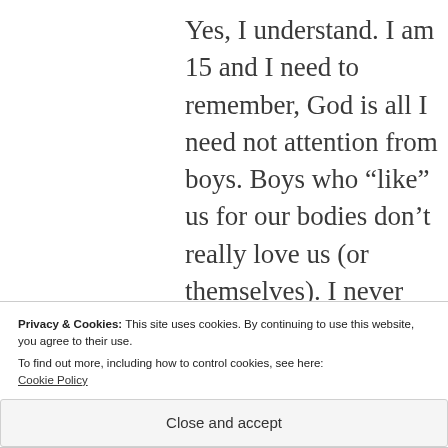Yes, I understand. I am 15 and I need to remember, God is all I need not attention from boys. Boys who “like” us for our bodies don’t really love us (or themselves). I never wanted to dress immodestly but I usually
Privacy & Cookies: This site uses cookies. By continuing to use this website, you agree to their use.
To find out more, including how to control cookies, see here:
Cookie Policy
Close and accept